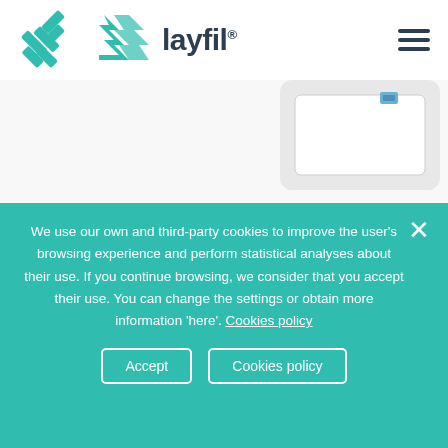[Figure (logo): Layfil company logo with teal geometric icon and dark text 'layfil' with registered trademark symbol]
[Figure (photo): Product image partially visible at top - appears to be a white document holder or filing product]
[Figure (photo): Product image partially visible - red fabric or material with white product below]
We use our own and third-party cookies to improve the user's browsing experience and perform statistical analyses about their use. If you continue browsing, we consider that you accept their use. You can change the settings or obtain more information 'here'. Cookies policy
Accept
Cookies policy